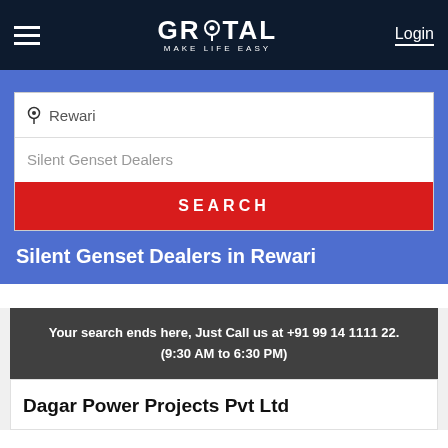GROTAL MAKE LIFE EASY | Login
[Figure (screenshot): Search interface with location field showing 'Rewari', keyword field showing 'Silent Genset Dealers', and a red SEARCH button on a blue background]
Silent Genset Dealers in Rewari
Your search ends here, Just Call us at +91 99 14 1111 22. (9:30 AM to 6:30 PM)
Dagar Power Projects Pvt Ltd